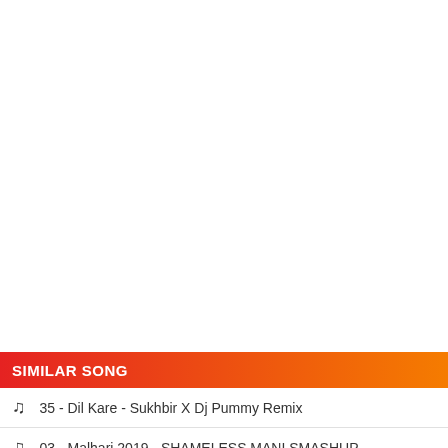SIMILAR SONG
35 - Dil Kare - Sukhbir X Dj Pummy Remix
03 - Malhari 2019 - SHAMELESS MANI SMASHUP